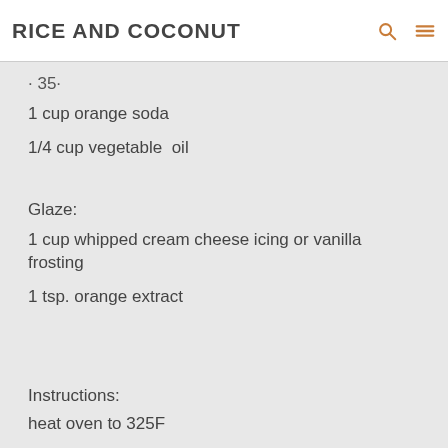RICE AND COCONUT
3 eggs:
1 cup orange soda
1/4 cup vegetable  oil
Glaze:
1 cup whipped cream cheese icing or vanilla frosting
1 tsp. orange extract
Instructions:
heat oven to 325F
Combine all ingredients in mixer bowl.  Beat with electric mixer 3 min.
Pour into Bundt pan sprayed with cooking spray.  Bake 38 to 40 min. or